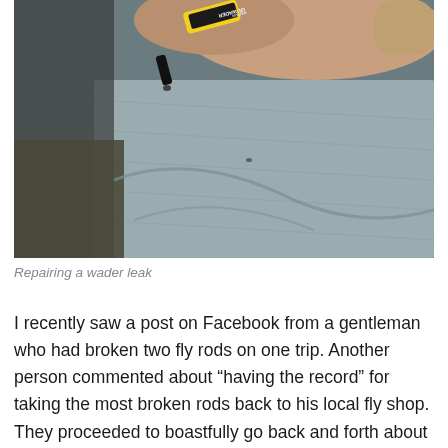[Figure (photo): Close-up photo of a hand applying UV Wader Repair glue from a small yellow and black tube onto a grey fabric wader material, repairing a leak.]
Repairing a wader leak
I recently saw a post on Facebook from a gentleman who had broken two fly rods on one trip. Another person commented about “having the record” for taking the most broken rods back to his local fly shop. They proceeded to boastfully go back and forth about this as if it was some sort of badge of honor. Accidents happen and rods do break from time to time, but I had guided one of the men on the crew and I have never seen such a lack of